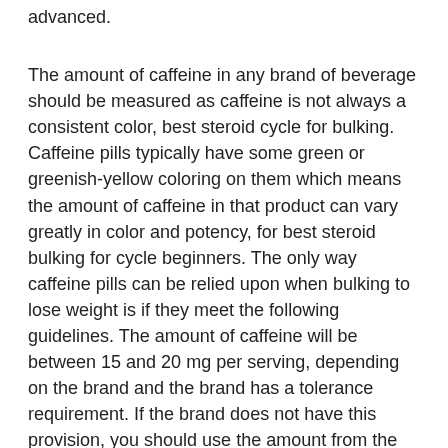advanced.
The amount of caffeine in any brand of beverage should be measured as caffeine is not always a consistent color, best steroid cycle for bulking. Caffeine pills typically have some green or greenish-yellow coloring on them which means the amount of caffeine in that product can vary greatly in color and potency, for best steroid bulking for cycle beginners. The only way caffeine pills can be relied upon when bulking to lose weight is if they meet the following guidelines. The amount of caffeine will be between 15 and 20 mg per serving, depending on the brand and the brand has a tolerance requirement. If the brand does not have this provision, you should use the amount from the bottom of the list in your calculations, best steroid cycle for bulking for beginners. Be sure to test all brands before trying them, best steroid bulk cycle0.